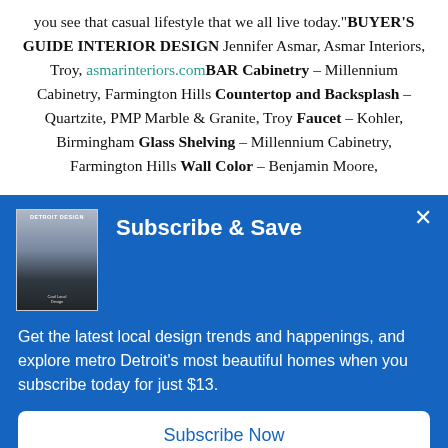you see that casual lifestyle that we all live today."BUYER'S GUIDE INTERIOR DESIGN Jennifer Asmar, Asmar Interiors, Troy, asmarinteriors.com BAR Cabinetry – Millennium Cabinetry, Farmington Hills Countertop and Backsplash – Quartzite, PMP Marble & Granite, Troy Faucet – Kohler, Birmingham Glass Shelving – Millennium Cabinetry, Farmington Hills Wall Color – Benjamin Moore,
[Figure (screenshot): A subscription modal overlay with blue background. Contains Detroit Design magazine cover image, 'Subscribe & Save' heading, promotional text, and a 'Subscribe Now' button.]